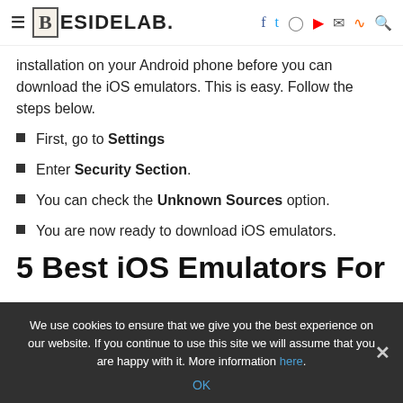BESIDELAB.
installation on your Android phone before you can download the iOS emulators. This is easy. Follow the steps below.
First, go to Settings
Enter Security Section.
You can check the Unknown Sources option.
You are now ready to download iOS emulators.
5 Best iOS Emulators For
We use cookies to ensure that we give you the best experience on our website. If you continue to use this site we will assume that you are happy with it. More information here.
OK